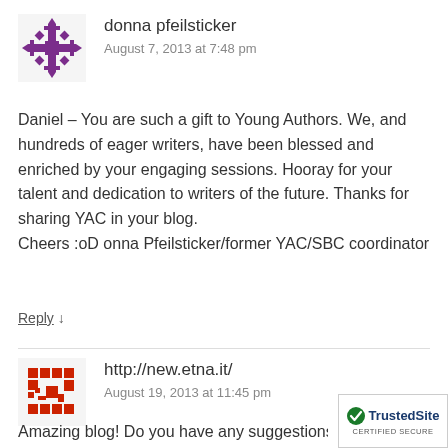[Figure (illustration): Purple snowflake/geometric avatar for user donna pfeilsticker]
donna pfeilsticker
August 7, 2013 at 7:48 pm
Daniel – You are such a gift to Young Authors. We, and hundreds of eager writers, have been blessed and enriched by your engaging sessions. Hooray for your talent and dedication to writers of the future. Thanks for sharing YAC in your blog.
Cheers :oD onna Pfeilsticker/former YAC/SBC coordinator
Reply ↓
[Figure (illustration): Red/dark geometric avatar for user http://new.etna.it/]
http://new.etna.it/
August 19, 2013 at 11:45 pm
Amazing blog! Do you have any suggestions for as
[Figure (other): TrustedSite CERTIFIED SECURE badge in bottom right corner]